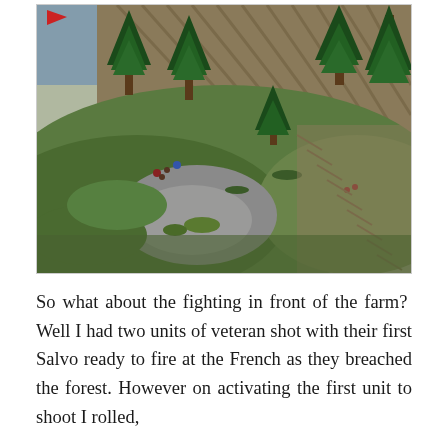[Figure (photo): Overhead photograph of a tabletop wargame terrain featuring miniature pine trees, rolling green hills, rocky outcrops, and small military figurines (soldiers) on textured bases. The terrain includes grass, gravel textures, and dirt-textured mat areas.]
So what about the fighting in front of the farm?  Well I had two units of veteran shot with their first Salvo ready to fire at the French as they breached the forest. However on activating the first unit to shoot I rolled,